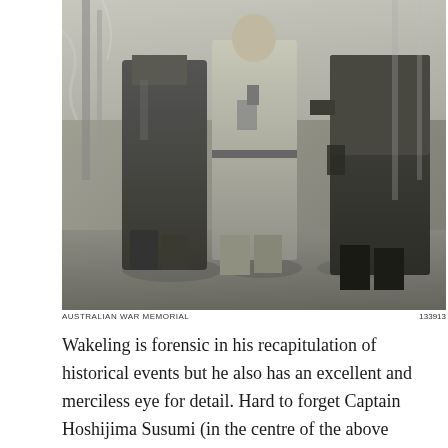[Figure (photo): Black and white photograph showing three military figures standing outdoors. The central figure is Captain Hoshijima Susumi with his defence counsel. Trees and ground visible in background.]
AUSTRALIAN WAR MEMORIAL    133913
Wakeling is forensic in his recapitulation of historical events but he also has an excellent and merciless eye for detail. Hard to forget Captain Hoshijima Susumi (in the centre of the above photo, with his defence counsel, courtesy Australian War Memorial 133913) who had been